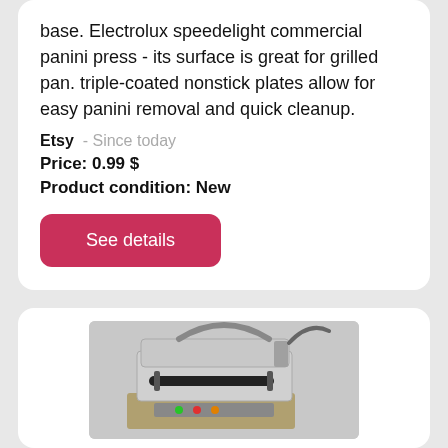base. Electrolux speedelight commercial panini press - its surface is great for grilled pan. triple-coated nonstick plates allow for easy panini removal and quick cleanup.
Etsy - Since today
Price: 0.99 $
Product condition: New
See details
[Figure (photo): Photo of an Electrolux Speedelight commercial panini press, stainless steel body with black handle, control panel with indicator lights visible on front.]